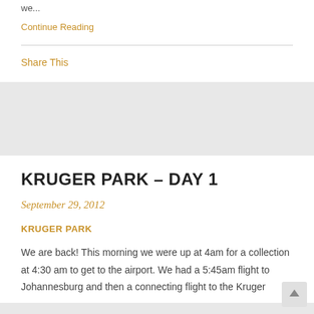we...
Continue Reading
Share This
KRUGER PARK – DAY 1
September 29, 2012
KRUGER PARK
We are back! This morning we were up at 4am for a collection at 4:30 am to get to the airport. We had a 5:45am flight to Johannesburg and then a connecting flight to the Kruger